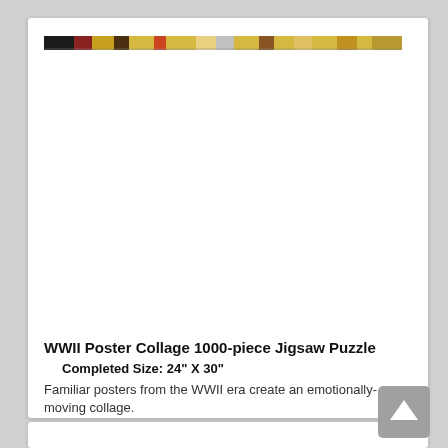[Figure (photo): WWII Poster Collage 1000-piece jigsaw puzzle product image. A colorful horizontal strip of WWII era poster imagery is visible at the top of the white product card. The majority of the card is blank white (image mostly cropped/not loaded).]
WWII Poster Collage 1000-piece Jigsaw Puzzle
Completed Size: 24" X 30"
Familiar posters from the WWII era create an emotionally-moving collage.